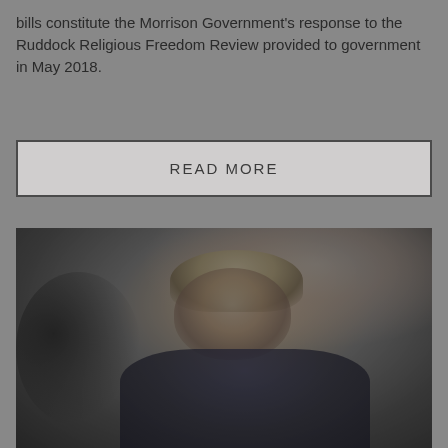bills constitute the Morrison Government's response to the Ruddock Religious Freedom Review provided to government in May 2018.
READ MORE
[Figure (photo): A blonde woman in a dark jacket, photographed from below, looking upward, against a light beige background. Dark microphone silhouette visible on the left side of the frame.]